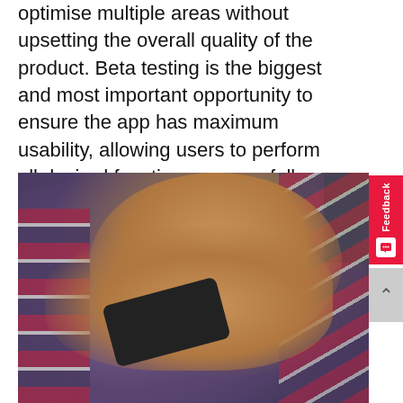optimise multiple areas without upsetting the overall quality of the product. Beta testing is the biggest and most important opportunity to ensure the app has maximum usability, allowing users to perform all desired functions successfully. This is at the core of any product: if a user has any trouble performing a task, they'll move on to a competitor without a second thought.
[Figure (photo): A person using a smartphone, tapping the screen with their index finger. They are wearing a purple/navy top and a magenta and grey plaid bag strap is visible.]